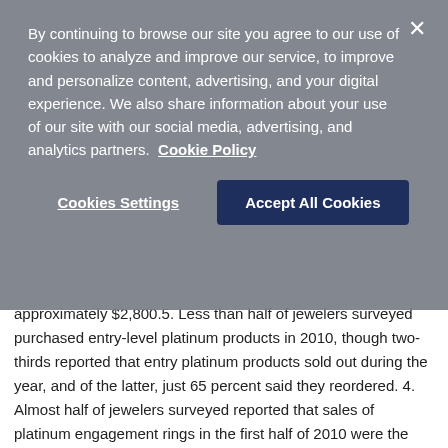By continuing to browse our site you agree to our use of cookies to analyze and improve our service, to improve and personalize content, advertising, and your digital experience. We also share information about your use of our site with our social media, advertising, and analytics partners. Cookie Policy
Cookies Settings
Accept All Cookies
approximately $2,800.5. Less than half of jewelers surveyed purchased entry-level platinum products in 2010, though two-thirds reported that entry platinum products sold out during the year, and of the latter, just 65 percent said they reordered. 4. Almost half of jewelers surveyed reported that sales of platinum engagement rings in the first half of 2010 were the same compared to other metal types of engagement rings, while a third said sales worsened. 5. Sales of platinum bridal jewelry in 2011 are expected to grow by 4